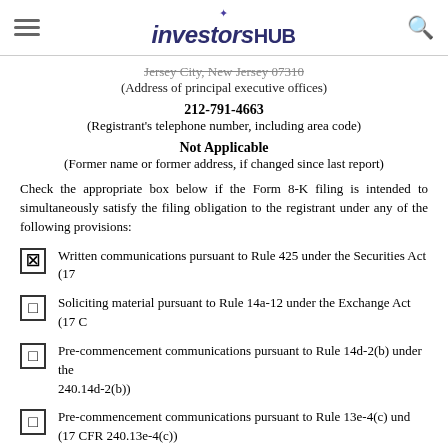investorshub
Jersey City, New Jersey 07310
(Address of principal executive offices)
212-791-4663
(Registrant's telephone number, including area code)
Not Applicable
(Former name or former address, if changed since last report)
Check the appropriate box below if the Form 8-K filing is intended to simultaneously satisfy the filing obligation to the registrant under any of the following provisions:
Written communications pursuant to Rule 425 under the Securities Act (17...
Soliciting material pursuant to Rule 14a-12 under the Exchange Act (17 C...
Pre-commencement communications pursuant to Rule 14d-2(b) under the... 240.14d-2(b))
Pre-commencement communications pursuant to Rule 13e-4(c) und... (17 CFR 240.13e-4(c))